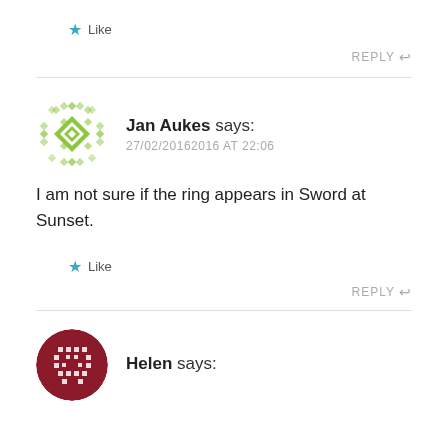Like
REPLY
Jan Aukes says: 27/02/20162016 AT 22:06
I am not sure if the ring appears in Sword at Sunset.
Like
REPLY
Helen says: